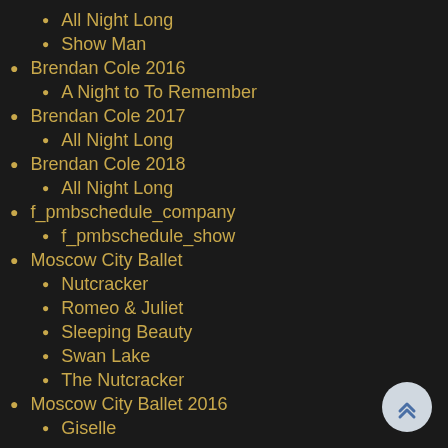All Night Long
Show Man
Brendan Cole 2016
A Night to To Remember
Brendan Cole 2017
All Night Long
Brendan Cole 2018
All Night Long
f_pmbschedule_company
f_pmbschedule_show
Moscow City Ballet
Nutcracker
Romeo & Juliet
Sleeping Beauty
Swan Lake
The Nutcracker
Moscow City Ballet 2016
Giselle